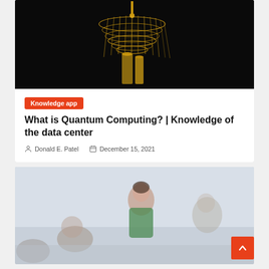[Figure (photo): Dark background photo of a golden quantum computer hardware apparatus with intricate gold wiring and cylindrical structures]
Knowledge app
What is Quantum Computing? | Knowledge of the data center
Donald E. Patel   December 15, 2021
[Figure (photo): Blurred photo of people in a classroom or meeting room, with a woman in a green top in focus in the center background]